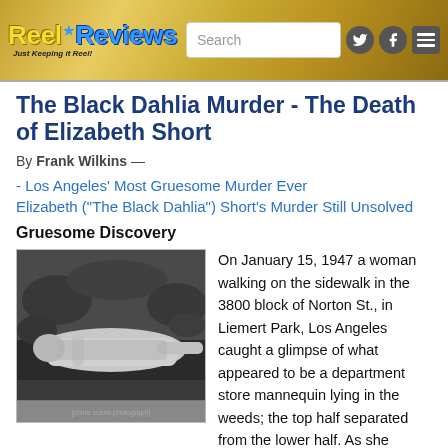Reel Reviews - Just Keeping it Reel! | Search
The Black Dahlia Murder - The Death of Elizabeth Short
By Frank Wilkins —
- Los Angeles' Most Gruesome Murder Ever
Elizabeth ("The Black Dahlia") Short's Murder Still Unsolved
Gruesome Discovery
[Figure (photo): Black and white crime scene photo showing a body lying in weeds/grass]
On January 15, 1947 a woman walking on the sidewalk in the 3800 block of Norton St., in Liemert Park, Los Angeles caught a glimpse of what appeared to be a department store mannequin lying in the weeds; the top half separated from the lower half. As she approached the mannequin, the woman realized it was